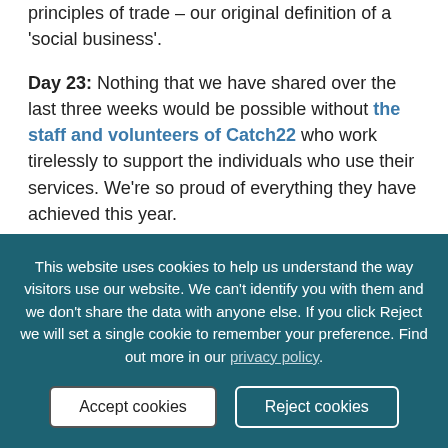principles of trade – our original definition of a 'social business'.
Day 23: Nothing that we have shared over the last three weeks would be possible without the staff and volunteers of Catch22 who work tirelessly to support the individuals who use their services. We're so proud of everything they have achieved this year.
Day 24: [partially visible text]
This website uses cookies to help us understand the way visitors use our website. We can't identify you with them and we don't share the data with anyone else. If you click Reject we will set a single cookie to remember your preference. Find out more in our privacy policy.